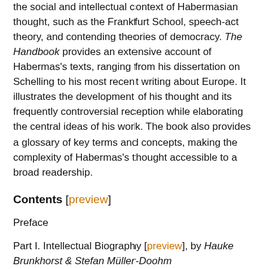the social and intellectual context of Habermasian thought, such as the Frankfurt School, speech-act theory, and contending theories of democracy. The Handbook provides an extensive account of Habermas's texts, ranging from his dissertation on Schelling to his most recent writing about Europe. It illustrates the development of his thought and its frequently controversial reception while elaborating the central ideas of his work. The book also provides a glossary of key terms and concepts, making the complexity of Habermas's thought accessible to a broad readership.
Contents [preview]
Preface
Part I. Intellectual Biography [preview], by Hauke Brunkhorst & Stefan Müller-Doohm
Part II. Contexts
1. The Philosophy of History, Anthropology, and Marxism (Axel Honneth)
2. The Frankfurt School and Social Theory (Axel Honneth)